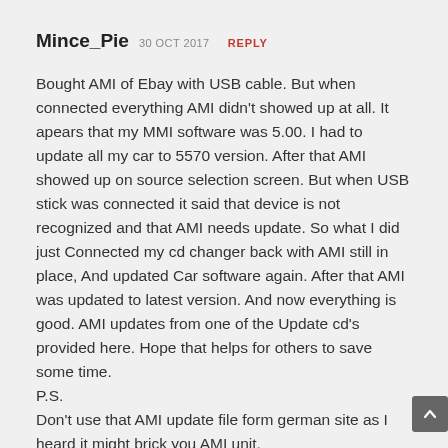Mince_Pie 30 OCT 2017 REPLY
Bought AMI of Ebay with USB cable. But when connected everything AMI didn't showed up at all. It apears that my MMI software was 5.00. I had to update all my car to 5570 version. After that AMI showed up on source selection screen. But when USB stick was connected it said that device is not recognized and that AMI needs update. So what I did just Connected my cd changer back with AMI still in place, And updated Car software again. After that AMI was updated to latest version. And now everything is good. AMI updates from one of the Update cd's provided here. Hope that helps for others to save some time. P.S.
Don't use that AMI update file form german site as I heard it might brick you AMI unit.
Use Update CD's that are provided for download in this site.
And I'm not responsible for any damage to your car if something